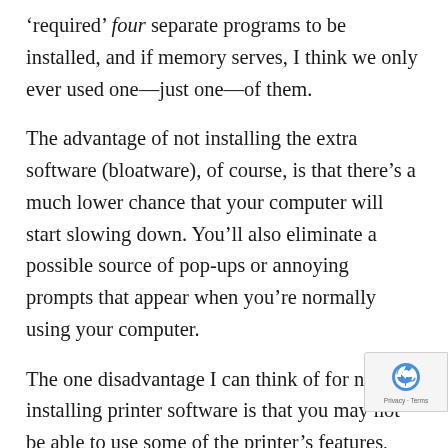required four separate programs to be installed, and if memory serves, I think we only ever used one—just one—of them.
The advantage of not installing the extra software (bloatware), of course, is that there's a much lower chance that your computer will start slowing down. You'll also eliminate a possible source of pop-ups or annoying prompts that appear when you're normally using your computer.
The one disadvantage I can think of for not installing printer software is that you may not be able to use some of the printer's features, such as scanning. However, there are usually ways around that, as well, as I'll cover in a moment.